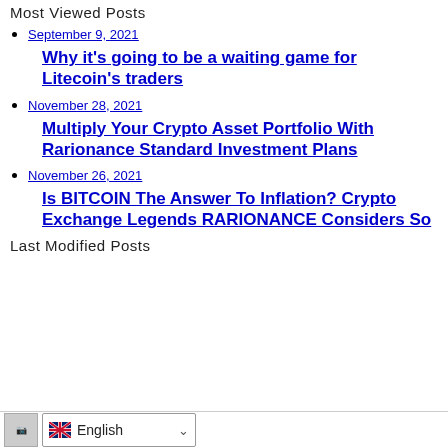Most Viewed Posts
September 9, 2021
Why it’s going to be a waiting game for Litecoin’s traders
November 28, 2021
Multiply Your Crypto Asset Portfolio With Rarionance Standard Investment Plans
November 26, 2021
Is BITCOIN The Answer To Inflation? Crypto Exchange Legends RARIONANCE Considers So
Last Modified Posts
English